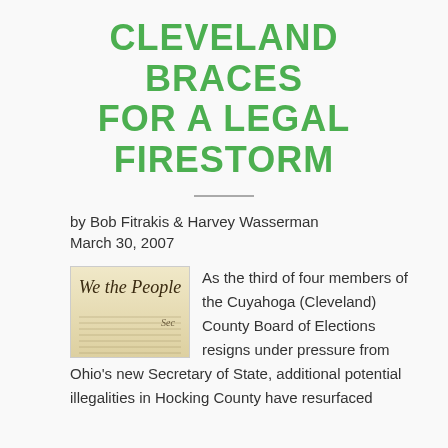CLEVELAND BRACES FOR A LEGAL FIRESTORM
by Bob Fitrakis & Harvey Wasserman
March 30, 2007
[Figure (photo): Image of the We the People preamble of the US Constitution in stylized calligraphy script]
As the third of four members of the Cuyahoga (Cleveland) County Board of Elections resigns under pressure from Ohio's new Secretary of State, additional potential illegalities in Hocking County have resurfaced